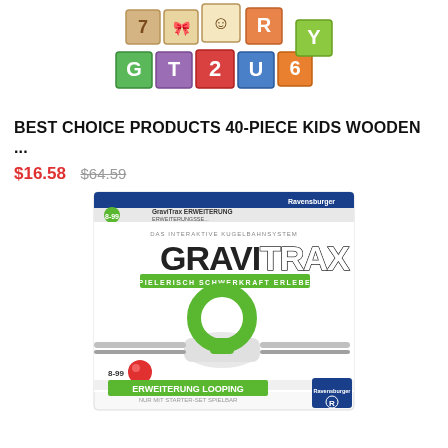[Figure (photo): Colorful wooden alphabet/number building blocks arranged in two rows, showing letters and numbers like 7, R, G, T, 2, U, 6, Y on colored cube blocks]
BEST CHOICE PRODUCTS 40-PIECE KIDS WOODEN ...
$16.58  $64.59
[Figure (photo): GraviTrax Erweiterung Looping box by Ravensburger. The box shows a green loop/looping track piece with a marble rail system. Text on box reads: DAS INTERAKTIVE KUGELBAHNSYSTEM, GRAVITRAX, SPIELERISCH SCHWERKRAFT ERLEBEN, 8-99, ERWEITERUNG LOOPING, NUR MIT STARTER-SET SPIELBAR. Age 8-99. Ravensburger logo at top right and bottom right.]